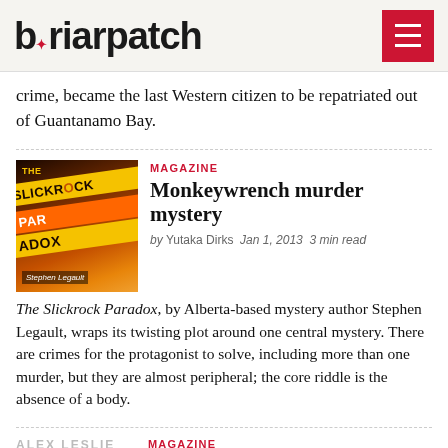briarpatch
crime, became the last Western citizen to be repatriated out of Guantanamo Bay.
[Figure (photo): Book cover of The Slickrock Paradox by Stephen Legault, with orange and yellow crime scene tape imagery]
MAGAZINE
Monkeywrench murder mystery
by Yutaka Dirks   Jan 1, 2013   3 min read
The Slickrock Paradox, by Alberta-based mystery author Stephen Legault, wraps its twisting plot around one central mystery. There are crimes for the protagonist to solve, including more than one murder, but they are almost peripheral; the core riddle is the absence of a body.
MAGAZINE
Heartbreaking vanishing acts
by Yutaka Dirks   Dec 11, 2012   3 min read